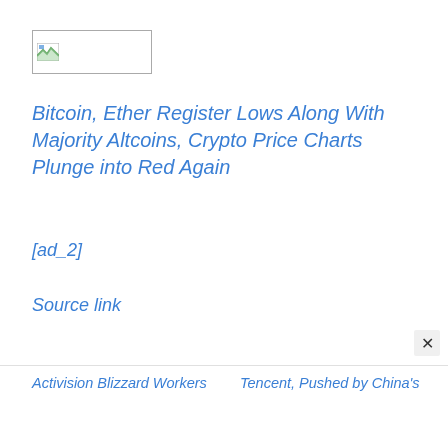[Figure (logo): Website logo placeholder image (broken image icon inside a bordered rectangle)]
Bitcoin, Ether Register Lows Along With Majority Altcoins, Crypto Price Charts Plunge into Red Again
[ad_2]
Source link
Activision Blizzard Workers
Tencent, Pushed by China's